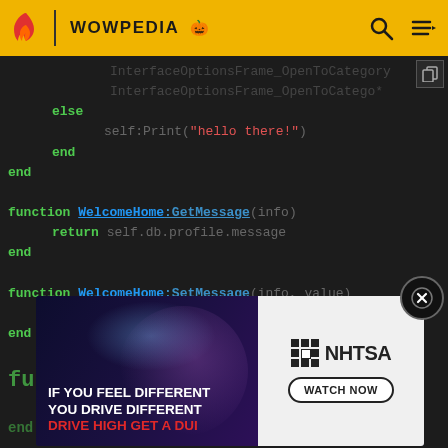WOWPEDIA
[Figure (screenshot): Wowpedia wiki website header with flame logo, WOWPEDIA title, search icon and menu icon on gold/yellow background]
Code block showing Lua code:
InterfaceOptionsFrame_OpenToCategory
InterfaceOptionsFrame_OpenToCatego*
else
    self:Print("hello there!")
end
end

function WelcomeHome:GetMessage(info)
    return self.db.profile.message
end

function WelcomeHome:SetMessage(info, value)
    self.db.profile.message = value
end

func...
    ...
end

funct...
[Figure (infographic): NHTSA advertisement: 'IF YOU FEEL DIFFERENT YOU DRIVE DIFFERENT DRIVE HIGH GET A DUI' with WATCH NOW button and NHTSA logo]